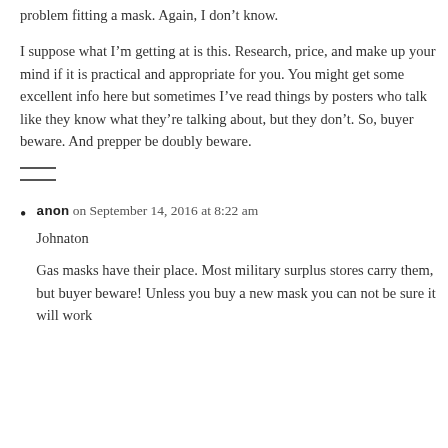problem fitting a mask. Again, I don't know.
I suppose what I'm getting at is this. Research, price, and make up your mind if it is practical and appropriate for you. You might get some excellent info here but sometimes I've read things by posters who talk like they know what they're talking about, but they don't. So, buyer beware. And prepper be doubly beware.
——
——
anon on September 14, 2016 at 8:22 am
Johnaton
Gas masks have their place. Most military surplus stores carry them, but buyer beware! Unless you buy a new mask you can not be sure it will work